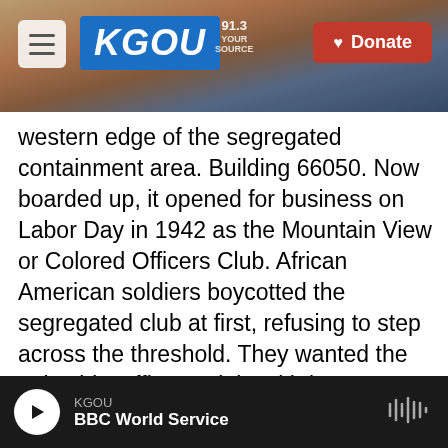KGOU — Donate
western edge of the segregated containment area. Building 66050. Now boarded up, it opened for business on Labor Day in 1942 as the Mountain View or Colored Officers Club. African American soldiers boycotted the segregated club at first, refusing to step across the threshold. They wanted the Lakeside Officers Club, with its guest quarters and other amenities to admit all officers on the post. Not just the white officers. Some even called building 66050 'Uncle Tom's Cabin' but most did come to use the Mountain View Club at last. The historic core of Fort Huachuca, the old post high on the mountain fan, became a National Historical
KGOU — BBC World Service